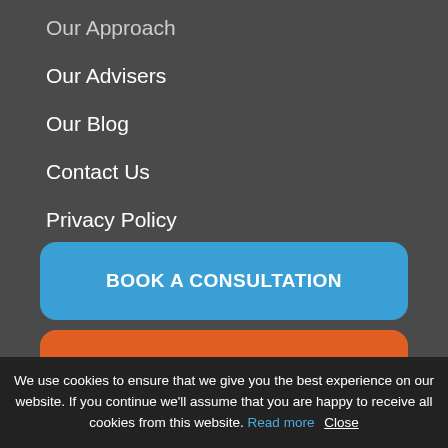Our Approach
Our Advisers
Our Blog
Contact Us
Privacy Policy
Terms & Conditions
BOOK A CONSULTATION
REQUEST A GROUP SEMINAR
JOIN US
We use cookies to ensure that we give you the best experience on our website. If you continue we'll assume that you are happy to receive all cookies from this website. Read more  Close